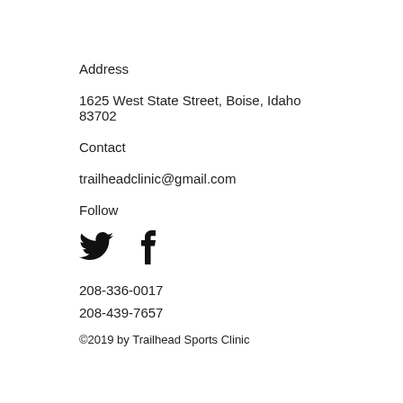Address
1625 West State Street, Boise, Idaho 83702
Contact
trailheadclinic@gmail.com
Follow
[Figure (illustration): Twitter bird icon and Facebook 'f' icon side by side]
208-336-0017
208-439-7657
©2019 by Trailhead Sports Clinic